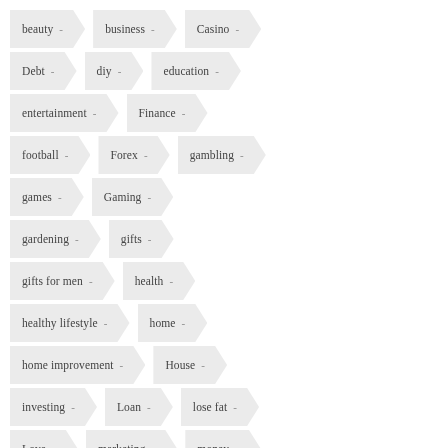beauty
business
Casino
Debt
diy
education
entertainment
Finance
football
Forex
gambling
games
Gaming
gardening
gifts
gifts for men
health
healthy lifestyle
home
home improvement
House
investing
Loan
lose fat
Love
marketing
money
movies
online